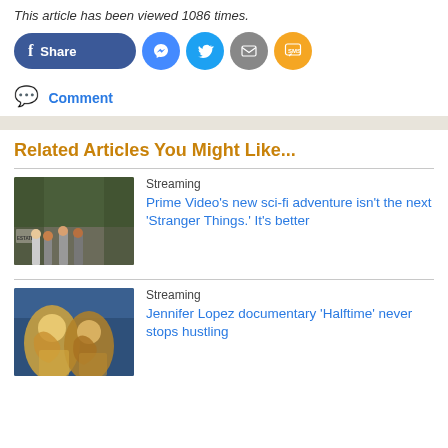This article has been viewed 1086 times.
[Figure (other): Social share buttons: Facebook Share, Messenger, Twitter, Email, SMS]
Comment
Related Articles You Might Like...
[Figure (photo): Four children sitting on a curb outdoors near trees and a sign reading ESTATE]
Streaming
Prime Video's new sci-fi adventure isn't the next 'Stranger Things.' It's better
[Figure (photo): Jennifer Lopez performing on stage in a sparkly outfit with another performer, blue tarp background]
Streaming
Jennifer Lopez documentary 'Halftime' never stops hustling